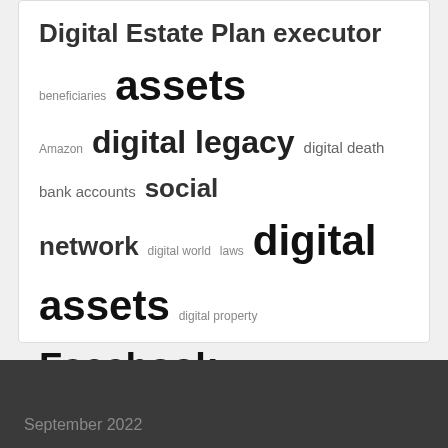[Figure (infographic): Word cloud about digital estate planning topics. Terms sized by frequency include: assets (largest), digital assets, digital asset, Facebook, draft, digital legacy, social media, estate plan, Estate Planning, digital estate, social network, afterlife, bank accounts, digital death, Digital Estate Planning, family member, friends, Twitter, Google, Apple, Yahoo, laws, digital world, digital property, digital footprint, Amazon, beneficiaries, bank account.]
September 2022